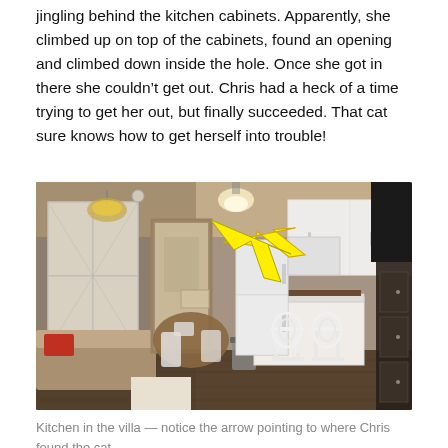jingling behind the kitchen cabinets. Apparently, she climbed up on top of the cabinets, found an opening and climbed down inside the hole. Once she got in there she couldn’t get out. Chris had a heck of a time trying to get her out, but finally succeeded. That cat sure knows how to get herself into trouble!
[Figure (photo): Interior photo of a villa kitchen/living area with dark wood floors, white kitchen cabinets, a white refrigerator, white bar stools, a sofa with red pillow, dining table and chairs, and a yellow arrow pointing to the top of the kitchen cabinets where the cat was found.]
Kitchen in the villa — notice the arrow pointing to where Chris found the cat